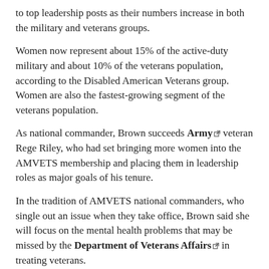to top leadership posts as their numbers increase in both the military and veterans groups.
Women now represent about 15% of the active-duty military and about 10% of the veterans population, according to the Disabled American Veterans group. Women are also the fastest-growing segment of the veterans population.
As national commander, Brown succeeds Army veteran Rege Riley, who had set bringing more women into the AMVETS membership and placing them in leadership roles as major goals of his tenure.
In the tradition of AMVETS national commanders, who single out an issue when they take office, Brown said she will focus on the mental health problems that may be missed by the Department of Veterans Affairs in treating veterans.
Brown noted the work of the Save A Warrior organization, of Newark, Ohio, which provides counseling in the areas of mental health and wellness, suicide prevention and post-traumatic stress to veterans, military personnel, police, firefighters and other first responders.